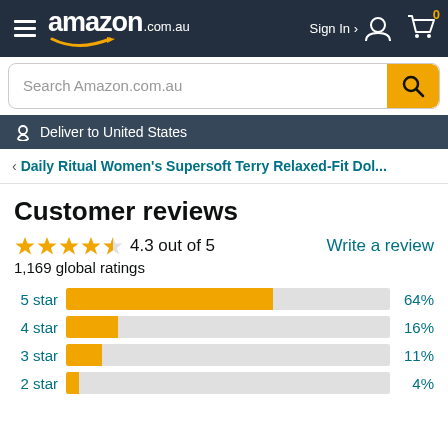amazon.com.au — Sign In > — Cart 0
Search Amazon.com.au
Deliver to United States
< Daily Ritual Women's Supersoft Terry Relaxed-Fit Dol...
Customer reviews
4.3 out of 5
1,169 global ratings
Write a review
[Figure (bar-chart): Star rating distribution]